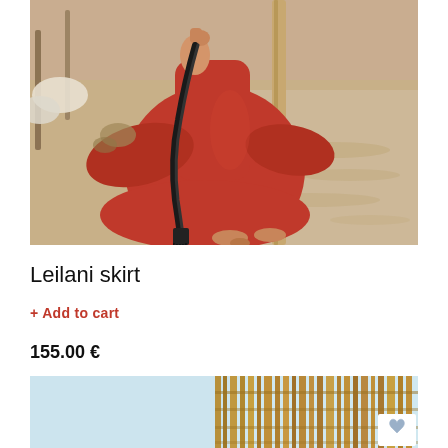[Figure (photo): Woman in a flowing red dress sitting on a sandy beach, holding a black braided bag strap, leaning against a wooden pole. Beach setting with sand and some objects in the background.]
Leilani skirt
+ Add to cart
155.00 €
[Figure (photo): Partial view of a beach scene showing what appears to be thatched roof or bamboo structure with light blue sky, and a small heart/wishlist icon button visible in the bottom right corner.]